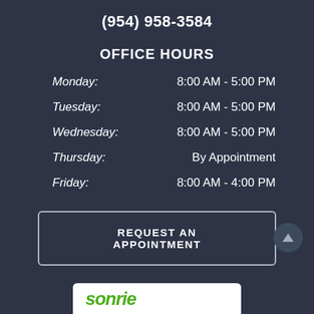(954) 958-3584
OFFICE HOURS
| Day | Hours |
| --- | --- |
| Monday: | 8:00 AM - 5:00 PM |
| Tuesday: | 8:00 AM - 5:00 PM |
| Wednesday: | 8:00 AM - 5:00 PM |
| Thursday: | By Appointment |
| Friday: | 8:00 AM - 4:00 PM |
REQUEST AN APPOINTMENT
[Figure (logo): Sonrie logo in green italic text on white background]